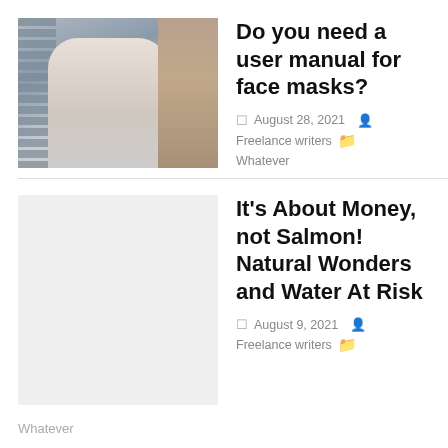[Figure (photo): Side profile photo of a man wearing a face mask improperly (below his nose), standing near a door with blinds visible in background.]
Do you need a user manual for face masks?
August 28, 2021  Freelance writers  Whatever
[Figure (photo): Light gray placeholder image, no visible content.]
It’s About Money, not Salmon! Natural Wonders and Water At Risk
August 9, 2021  Freelance writers
Whatever